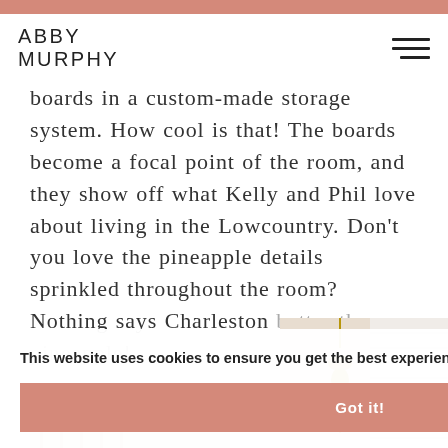ABBY MURPHY
boards in a custom-made storage system. How cool is that! The boards become a focal point of the room, and they show off what Kelly and Phil love about living in the Lowcountry. Don't you love the pineapple details sprinkled throughout the room? Nothing says Charleston better than a pineapple!
This website uses cookies to ensure you get the best experience on our website. Learn more
Got it!
[Figure (photo): Photo of a decorative hanging ornament (appears to be macrame or woven gold/brass piece) against a window with white shutters]